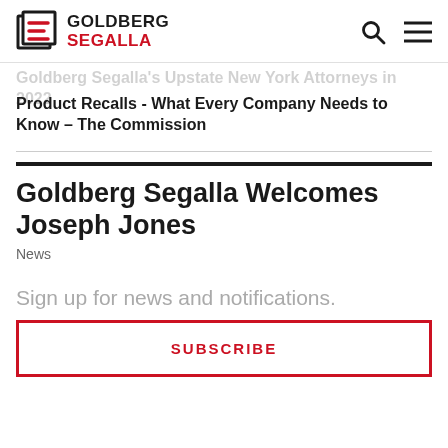GOLDBERG SEGALLA
Goldberg Segalla's Upstate New York Attorneys in 2022
Product Recalls - What Every Company Needs to Know – The Commission
Goldberg Segalla Welcomes Joseph Jones
News
Sign up for news and notifications.
SUBSCRIBE